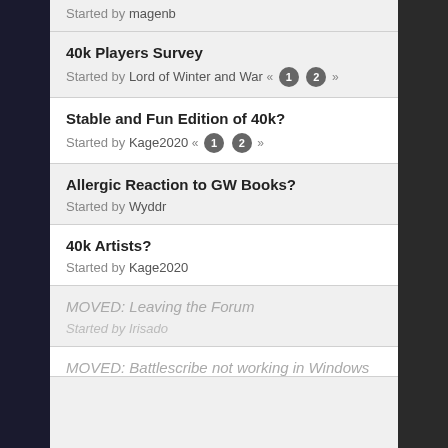Started by magenb
40k Players Survey
Started by Lord of Winter and War « 1 2 »
Stable and Fun Edition of 40k?
Started by Kage2020 « 1 2 »
Allergic Reaction to GW Books?
Started by Wyddr
40k Artists?
Started by Kage2020
MOVED: Leaving the Forum
Started by Irisado
MOVED: Battlescribe not working in Windows